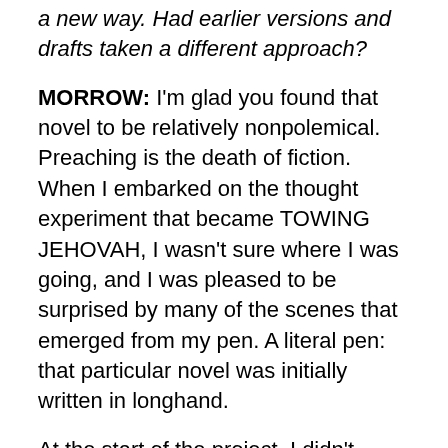a new way. Had earlier versions and drafts taken a different approach?
MORROW: I'm glad you found that novel to be relatively nonpolemical. Preaching is the death of fiction. When I embarked on the thought experiment that became TOWING JEHOVAH, I wasn't sure where I was going, and I was pleased to be surprised by many of the scenes that emerged from my pen. A literal pen: that particular novel was initially written in longhand.
At the start of the project, I didn't realize TOWING JEHOVAH would give me a chance to satirize my own worldview in the form of the Central Park West Enlightenment League. Nor did I foresee the weirdly reverent tone of the inverse-Eucharist scene, in which the starving supertanker crew survives a famine by eating